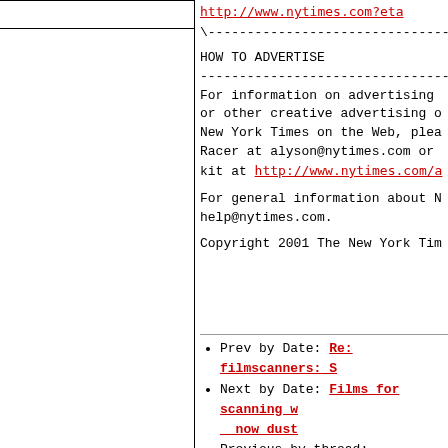http://www.nytimes.com?eta
\---------------------------------

HOW TO ADVERTISE
---------------------------------
For information on advertising or other creative advertising on New York Times on the Web, please contact Racer at alyson@nytimes.com or kit at http://www.nytimes.com/a

For general information about NY help@nytimes.com.

Copyright 2001 The New York Tim
Prev by Date: Re: filmscanners: S
Next by Date: Films for scanning with now dust
Previous by thread: filmscanners: performance, now dust
Next by thread: filmscanners: Vue
Index(es):